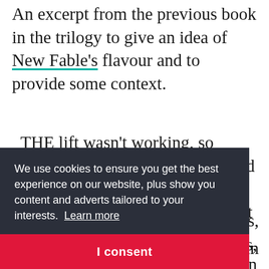An excerpt from the previous book in the trilogy to give an idea of New Fable's flavour and to provide some context.
THE lift wasn't working, so Oscar took the stairs, which turned out to be just as broken and twice as dangerous. The lobby was quiet [partially obscured by cookie banner] was, than much gh in ge of been
We use cookies to ensure you get the best experience on our website, plus show you content and adverts tailored to your interests. Learn more
I consent